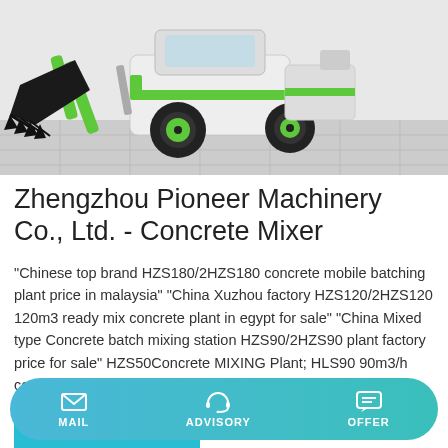[Figure (photo): Mini wheel loader with green accents and black bucket attachment on a paved surface]
Zhengzhou Pioneer Machinery Co., Ltd. - Concrete Mixer
"Chinese top brand HZS180/2HZS180 concrete mobile batching plant price in malaysia" "China Xuzhou factory HZS120/2HZS120 120m3 ready mix concrete plant in egypt for sale" "China Mixed type Concrete batch mixing station HZS90/2HZS90 plant factory price for sale" HZS50Concrete MIXING Plant; HLS90 90m3/h concrete batching plant with CE and ISO
Learn More
MAIL   ADVISORY   OFFER